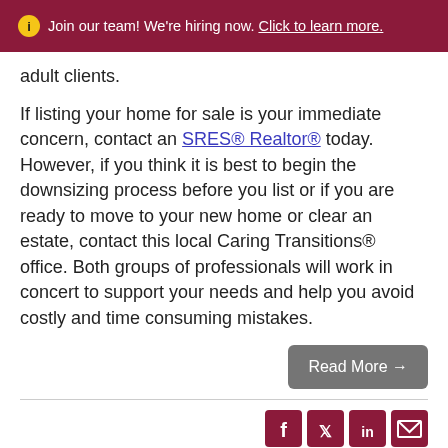Join our team! We're hiring now. Click to learn more.
adult clients.
If listing your home for sale is your immediate concern, contact an SRES® Realtor® today. However, if you think it is best to begin the downsizing process before you list or if you are ready to move to your new home or clear an estate, contact this local Caring Transitions® office. Both groups of professionals will work in concert to support your needs and help you avoid costly and time consuming mistakes.
Read More →
[Figure (other): Social media icons: Facebook, Twitter, LinkedIn, Email]